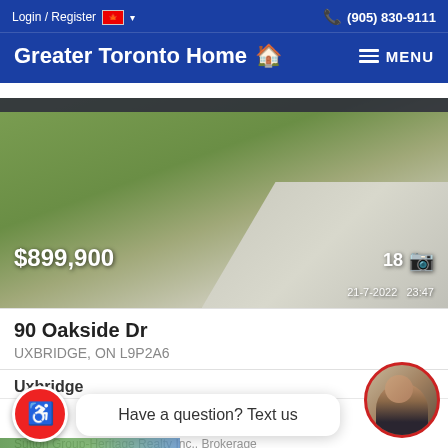Login / Register  (905) 830-9111
Greater Toronto Home  MENU
[Figure (photo): Exterior photo of a residential property showing lawn and driveway, timestamp 21-7-2022 23:47, price $899,900, 18 photos]
90 Oakside Dr
UXBRIDGE, ON L9P2A6
Uxbridge
3 Beds
2 Baths
Sutton Group-Heritage Realty Inc., Brokerage
Have a question? Text us